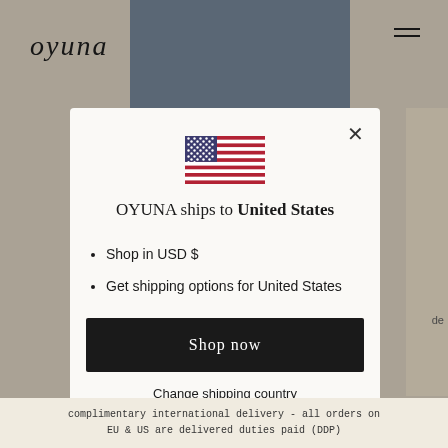[Figure (screenshot): Background website showing oyuna brand page with model photo and navigation]
[Figure (other): US flag emoji/icon in center of modal]
OYUNA ships to United States
Shop in USD $
Get shipping options for United States
Shop now
Change shipping country
complimentary international delivery - all orders on EU & US are delivered duties paid (DDP)